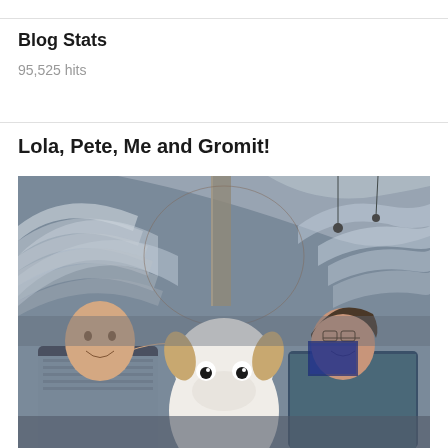Blog Stats
95,525 hits
Lola, Pete, Me and Gromit!
[Figure (photo): Two people posing with a Gromit statue inside a large train station with arched iron and glass roof structure. A bald man on the left with a beard smiles while resting his arm on the white Gromit figure. A woman with glasses on the right also smiles. The station appears to be Paddington or a similar large Victorian-era British station.]